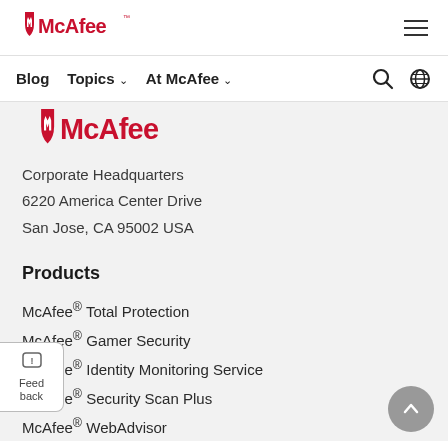McAfee logo and hamburger menu navigation bar
Blog  Topics ∨  At McAfee ∨  [search] [globe]
[Figure (logo): Partially visible McAfee logo (red shield and McAfee wordmark) cropped at top]
Corporate Headquarters
6220 America Center Drive
San Jose, CA 95002 USA
Products
McAfee® Total Protection
McAfee® Gamer Security
McAfee® Identity Monitoring Service
McAfee® Security Scan Plus
McAfee® WebAdvisor